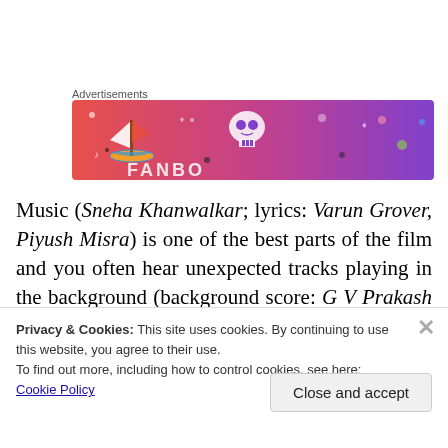Advertisements
[Figure (illustration): Colorful advertisement banner with gradient background from orange-red to purple, featuring cartoon illustrations: a sailboat on the left, a skull in the center, and various fantasy dice and decorative elements. Text partially visible at the bottom.]
Music (Sneha Khanwalkar; lyrics: Varun Grover, Piyush Misra) is one of the best parts of the film and you often hear unexpected tracks playing in the background (background score: G V Prakash Kumar). The song 'Teri
Privacy & Cookies: This site uses cookies. By continuing to use this website, you agree to their use.
To find out more, including how to control cookies, see here: Cookie Policy
Close and accept